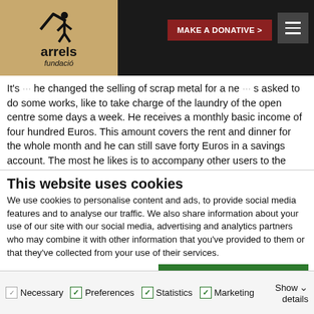[Figure (logo): Arrels Fundació logo on tan/beige background with a stylized person icon and text 'arrels fundació']
MAKE A DONATIVE >   [hamburger menu]
It's... he changed the selling of scrap metal for a ne... s asked to do some works, like to take charge of the laundry of the open centre some days a week. He receives a monthly basic income of four hundred Euros. This amount covers the rent and dinner for the whole month and he can still save forty Euros in a savings account. The most he likes is to accompany other users to the doctor. The difference between being accompanied and to accompany.
This website uses cookies
We use cookies to personalise content and ads, to provide social media features and to analyse our traffic. We also share information about your use of our site with our social media, advertising and analytics partners who may combine it with other information that you've provided to them or that they've collected from your use of their services.
Allow all cookies
Allow selection
Use necessary cookies only
Necessary   Preferences   Statistics   Marketing   Show details